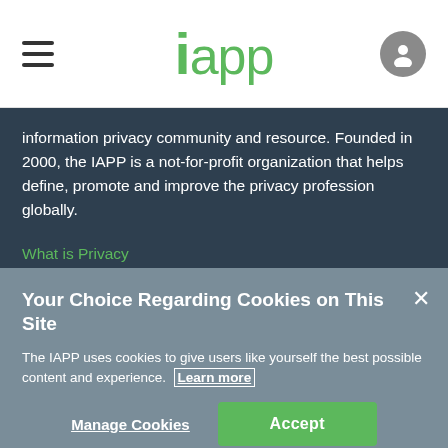iapp
information privacy community and resource. Founded in 2000, the IAPP is a not-for-profit organization that helps define, promote and improve the privacy profession globally.
What is Privacy
Corporate Members
Board of Directors
Your Choice Regarding Cookies on This Site
The IAPP uses cookies to give users like yourself the best possible content and experience. Learn more
Manage Cookies   Accept